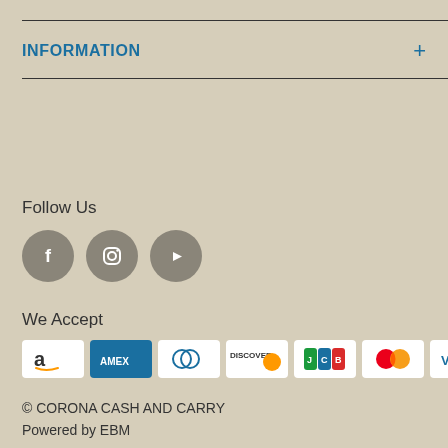INFORMATION +
Follow Us
[Figure (illustration): Three social media icon circles: Facebook (f), Instagram (camera/ring icon), YouTube (play button)]
We Accept
[Figure (illustration): Payment method badges: Amazon Pay, AMEX, Diners Club, Discover, JCB, Mastercard, Visa]
© CORONA CASH AND CARRY
Powered by EBM